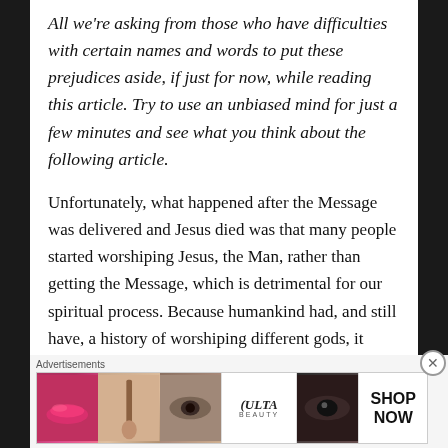All we're asking from those who have difficulties with certain names and words to put these prejudices aside, if just for now, while reading this article. Try to use an unbiased mind for just a few minutes and see what you think about the following article.
Unfortunately, what happened after the Message was delivered and Jesus died was that many people started worshiping Jesus, the Man, rather than getting the Message, which is detrimental for our spiritual process. Because humankind had, and still have, a history of worshiping different gods, it probably felt like the natural
Advertisements
[Figure (photo): Ulta Beauty advertisement banner showing makeup looks including lips, brush, eyes, Ulta logo, and a Shop Now call to action]